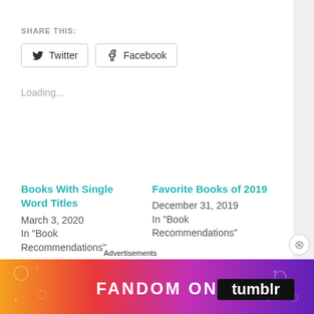SHARE THIS:
Twitter
Facebook
Loading...
Books With Single Word Titles
March 3, 2020
In "Book Recommendations"
Favorite Books of 2019
December 31, 2019
In "Book Recommendations"
Book Hangovers
February 18, 2020
In "Book
Advertisements
[Figure (illustration): Fandom on Tumblr advertisement banner with colorful gradient background (orange to purple) and white text reading FANDOM ON tumblr]